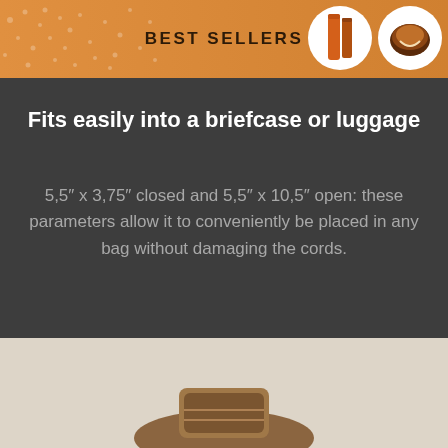BEST SELLERS
Fits easily into a briefcase or luggage
5,5″ x 3,75″ closed and 5,5″ x 10,5″ open: these parameters allow it to conveniently be placed in any bag without damaging the cords.
Unique stylish accessory
Even though it is made to store cables, the stylish look makes it an ideal accessory that won’t feel out of place but will rather complement your style.
[Figure (photo): Product photo showing a leather cable organizer at the bottom of the page]